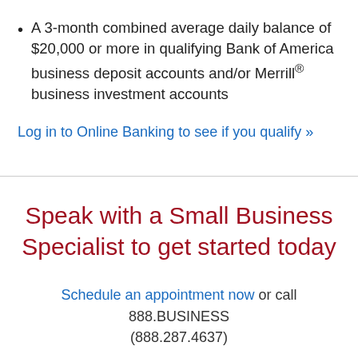A 3-month combined average daily balance of $20,000 or more in qualifying Bank of America business deposit accounts and/or Merrill® business investment accounts
Log in to Online Banking to see if you qualify »
Speak with a Small Business Specialist to get started today
Schedule an appointment now or call 888.BUSINESS (888.287.4637)